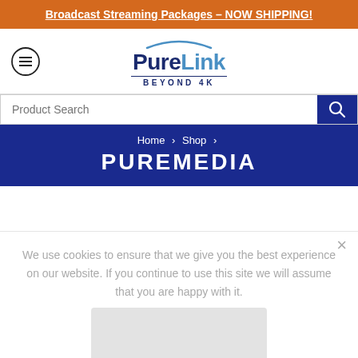Broadcast Streaming Packages – NOW SHIPPING!
[Figure (logo): PureLink Beyond 4K logo with arc graphic and hamburger menu icon]
Product Search
Home > Shop > PUREMEDIA
PUREMEDIA
We use cookies to ensure that we give you the best experience on our website. If you continue to use this site we will assume that you are happy with it.
OK